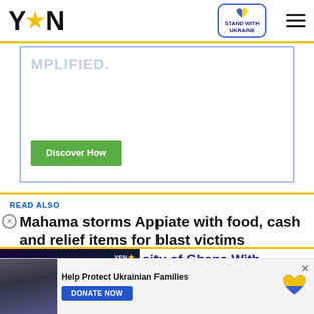YEN (logo) — STAND WITH UKRAINE badge — hamburger menu
[Figure (screenshot): Advertisement banner with text 'MPLIFIED.' and a green 'Discover How' button, blue-bordered box]
READ ALSO
Mahama storms Appiate with food, cash and relief items for blast victims
[Figure (screenshot): Video player overlay showing a woman with microphone in a dark/purple-lit setting, YEN logo badge top right, play button in center, red chevron button at bottom]
sity of Ghana With Presence To Quell
[Figure (screenshot): Bottom Ukraine donation banner: crowd photo thumbnail, 'Help Protect Ukrainian Families' text, blue DONATE NOW button, Ukraine heart flag logo, X close button]